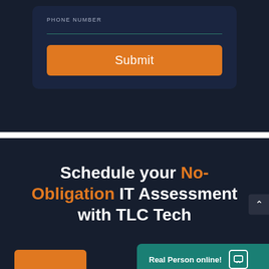PHONE NUMBER
[Figure (screenshot): Form card with PHONE NUMBER label, underline input field, and orange Submit button on dark navy background]
Schedule your No-Obligation IT Assessment with TLC Tech
Real Person online!